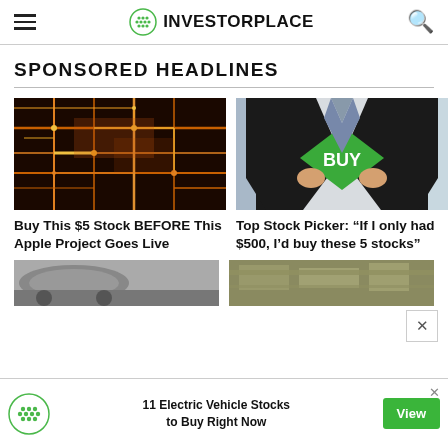INVESTORPLACE
SPONSORED HEADLINES
[Figure (photo): Circuit board with glowing orange and yellow lines on dark background]
Buy This $5 Stock BEFORE This Apple Project Goes Live
[Figure (photo): Man in suit pulling open shirt to reveal green diamond shape with BUY text]
Top Stock Picker: “If I only had $500, I’d buy these 5 stocks”
[Figure (photo): Partial photo of car]
[Figure (photo): Partial photo of money/cash]
11 Electric Vehicle Stocks to Buy Right Now